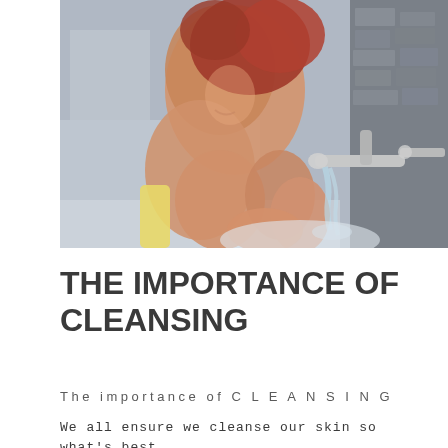[Figure (photo): Woman with red hair leaning over a bathroom sink, washing her face with water from a chrome tap. The image is partially in color (warm skin tones) and partially desaturated. Background shows a stone/brick wall and bathroom fixtures.]
THE IMPORTANCE OF CLEANSING
The importance of C L E A N S I N G
We all ensure we cleanse our skin so what's best